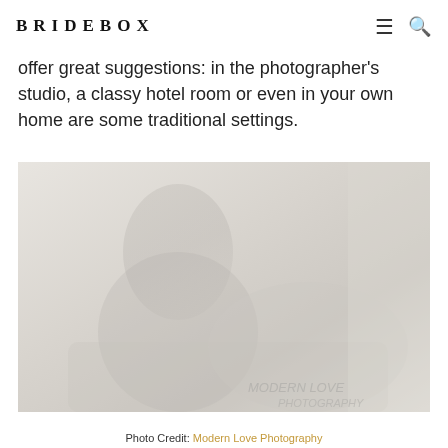BRIDEBOX
offer great suggestions: in the photographer's studio, a classy hotel room or even in your own home are some traditional settings.
[Figure (photo): Faded/washed-out boudoir photograph of a woman, appearing in muted grey and beige tones]
Photo Credit: Modern Love Photography